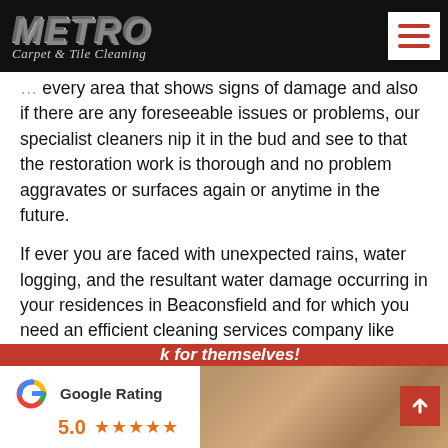Metro Carpet & Tile Cleaning
every area that shows signs of damage and also if there are any foreseeable issues or problems, our specialist cleaners nip it in the bud and see to that the restoration work is thorough and no problem aggravates or surfaces again or anytime in the future.
If ever you are faced with unexpected rains, water logging, and the resultant water damage occurring in your residences in Beaconsfield and for which you need an efficient cleaning services company like Metro Flood Restoration services, then just reach out to us to for any help.
k for themselves!
[Figure (logo): Google G logo with Google Rating 5.0 and five stars]
[Figure (photo): Interior photo showing damaged cabinets/flooring]